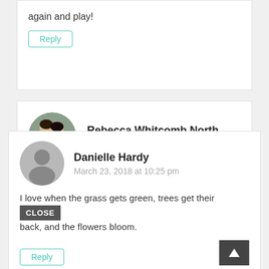again and play!
Reply
Rebecca Whitcomb North
March 23, 2018 at 6:03 pm
Spring blossoms are my favorite part about spring!
Reply
Danielle Hardy
March 23, 2018 at 10:25 pm
I love when the grass gets green, trees get their back, and the flowers bloom.
Reply